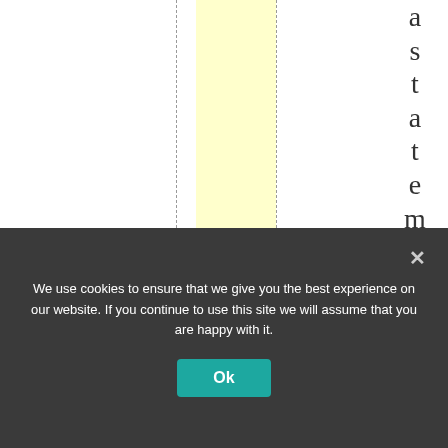[Figure (other): Document page layout with a vertical yellow highlighted column bar, two dashed vertical lines on either side, and vertically arranged letters spelling 'astatement condemni' along the right side of the page.]
We use cookies to ensure that we give you the best experience on our website. If you continue to use this site we will assume that you are happy with it.